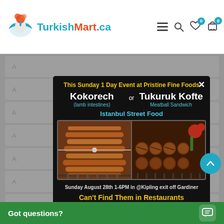[Figure (screenshot): TurkishMart.ca website header with logo, hamburger menu, search icon, heart and cart icons each with 0 badge]
[Figure (infographic): Popup modal on black background advertising a Sunday 1 Day Event at Pristine Fine Foods featuring Kokorech (lamb intestines) or Tukuruk Kofte Meatball Sandwich, Istanbul Street Food. Shows food photos, Sunday August 28th 1-6PM in @Kipling exit off Gardiner. Can't Find Them in Restaurants.]
Sunday August 28th 1-6PM in @Kipling exit off Gardiner
Can't Find Them in Restaurants
Got questions?